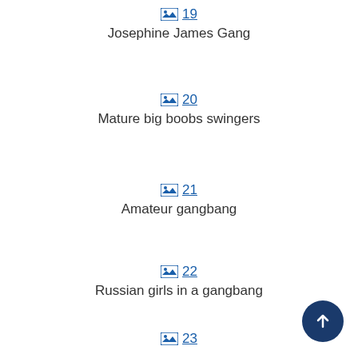19 Josephine James Gang
20 Mature big boobs swingers
21 Amateur gangbang
22 Russian girls in a gangbang
23